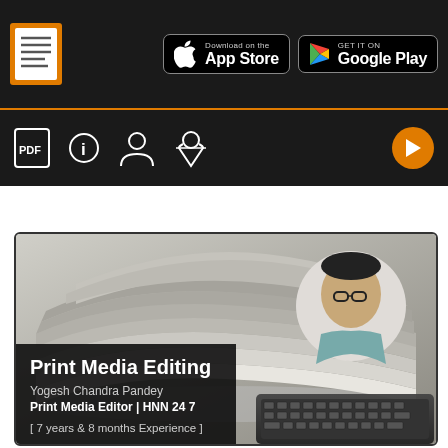[Figure (screenshot): App top bar with document icon on left, Download on the App Store button and GET IT ON Google Play button on right, on dark background]
[Figure (screenshot): Icon toolbar row with PDF, info, user, pin icons on dark background with orange accent and play button on right]
[Figure (photo): Course card showing newspapers stacked with a man in glasses in top right corner and keyboard below, with dark overlay text area]
Print Media Editing
Yogesh Chandra Pandey
Print Media Editor | HNN 24 7
[ 7 years & 8 months Experience ]